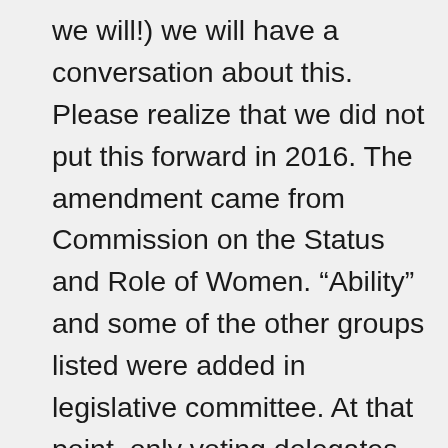we will!) we will have a conversation about this. Please realize that we did not put this forward in 2016. The amendment came from Commission on the Status and Role of Women. “Ability” and some of the other groups listed were added in legislative committee. At that point, only voting delegates have a voice. This took us by surprise! And we are still grateful!
There are protections for people with disabilities in our Social Principles, which are not binding as legislation is, but still expressed in